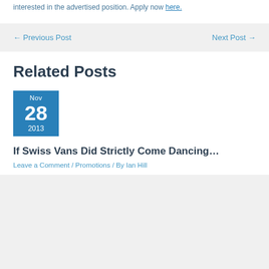interested in the advertised position. Apply now here.
← Previous Post    Next Post →
Related Posts
[Figure (other): Blue date box showing Nov 28 2013]
If Swiss Vans Did Strictly Come Dancing…
Leave a Comment / Promotions / By Ian Hill